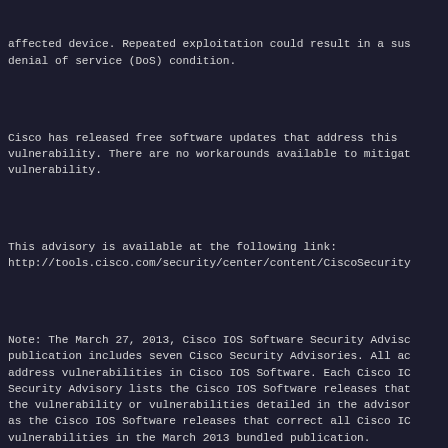affected device. Repeated exploitation could result in a sustained denial of service (DoS) condition.
Cisco has released free software updates that address this vulnerability. There are no workarounds available to mitigate this vulnerability.
This advisory is available at the following link:
http://tools.cisco.com/security/center/content/CiscoSecurity
Note: The March 27, 2013, Cisco IOS Software Security Advisory bundled publication includes seven Cisco Security Advisories. All advisories address vulnerabilities in Cisco IOS Software. Each Cisco IOS Security Advisory lists the Cisco IOS Software releases that fix the vulnerability or vulnerabilities detailed in the advisory, as well as the Cisco IOS Software releases that correct all Cisco IOS vulnerabilities in the March 2013 bundled publication.
Individual publication links are in "Cisco Event Response: Semi-Annual Cisco IOS Software Security Advisory Bundled Publication" at the following link:
http://www.cisco.com/web/about/security/intelligence/Cisco_E
- -----BEGIN PGP SIGNATURE-----
Version: GnuPG/MacGPG2 v2.0.18 (Darwin)
Comment: GPGTools - http://gpgtools.org

iF4EAREIAAYFAlFQcd4ACgkQUddfH3/BbTqZ+AD/SPWuHu+4uf/xKA+RAbRb
H9SFakcWJIPsy9TYjBABAI6/LmnQ9FrB1PHcVABckjYOnB+9JUd03ynxrsFF
=W+Lt
- -----END PGP SIGNATURE-----

- -----BEGIN PGP SIGNED MESSAGE-----
Hash: SHA256